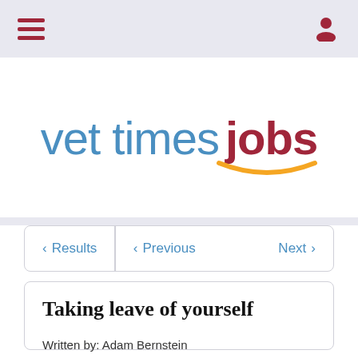Navigation bar with hamburger menu and user icon
[Figure (logo): Vet Times Jobs logo with 'vet times' in light blue and 'jobs' in dark red/maroon, with an orange smile arc beneath 'jobs']
< Results  < Previous  Next >
Taking leave of yourself
Written by: Adam Bernstein
Published on: 10 May 2018